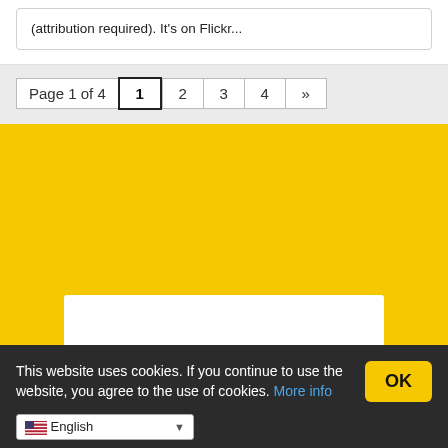(attribution required). It's on Flickr...
Page 1 of 4  1  2  3  4  »
[Figure (other): Yellow background section with a white card appearing at the bottom]
This website uses cookies. If you continue to use the website, you agree to the use of cookies. More info
English